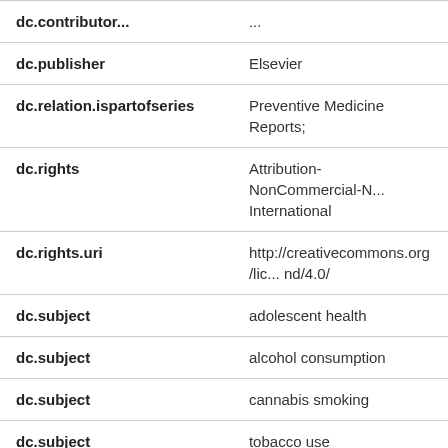| Field | Value |
| --- | --- |
| dc.contributor... | ... |
| dc.publisher | Elsevier |
| dc.relation.ispartofseries | Preventive Medicine Reports; |
| dc.rights | Attribution-NonCommercial-N... International |
| dc.rights.uri | http://creativecommons.org/lic... nd/4.0/ |
| dc.subject | adolescent health |
| dc.subject | alcohol consumption |
| dc.subject | cannabis smoking |
| dc.subject | tobacco use |
| dc.subject | physical activity |
| dc.subject | body mass index |
| dc.subject | screen time |